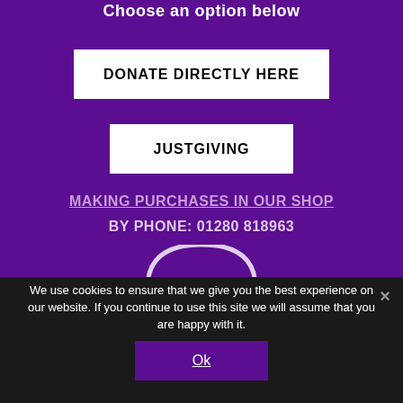Choose an option below
DONATE DIRECTLY HERE
JUSTGIVING
MAKING PURCHASES IN OUR SHOP
BY PHONE: 01280 818963
[Figure (illustration): Partial arch/logo shape visible at bottom of purple section]
We use cookies to ensure that we give you the best experience on our website. If you continue to use this site we will assume that you are happy with it.
Ok